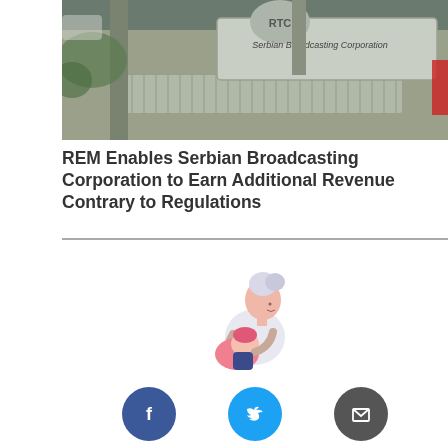[Figure (photo): Exterior photograph of Serbian Broadcasting Corporation building showing a metal sign reading 'PTC Serbian Broadcasting Corporation' with a fence and greenery in the background]
REM Enables Serbian Broadcasting Corporation to Earn Additional Revenue Contrary to Regulations
[Figure (illustration): Illustration of a woman holding a baby, depicted in a soft pink and lavender color scheme]
[Figure (infographic): Three social sharing buttons: Facebook (blue circle with F icon), Twitter (cyan circle with bird icon), Email (dark grey circle with envelope icon)]